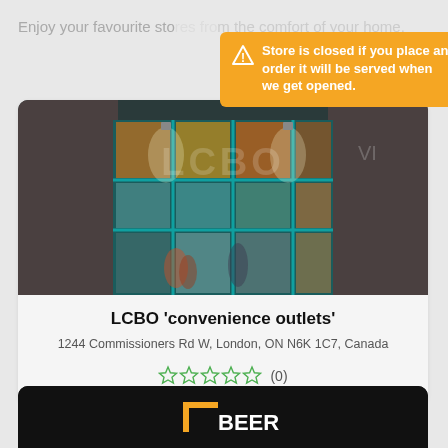Enjoy your favourite stores from the comfort of your home.
[Figure (photo): LCBO store front with illuminated signage showing 'LCBO' text in teal/green colors, large glass windows with orange and blue displays, brick walls, and blurred pedestrians walking past at night.]
[Figure (infographic): Orange tooltip/popup warning box with triangle warning icon and text: 'Store is closed if you place an order it will be served when we get opened.']
LCBO 'convenience outlets'
1244 Commissioners Rd W, London, ON N6K 1C7, Canada
☆☆☆☆☆ (0)
[Figure (photo): Partial view of a second store card showing a dark/black background with an orange and white logo at the bottom of the page.]